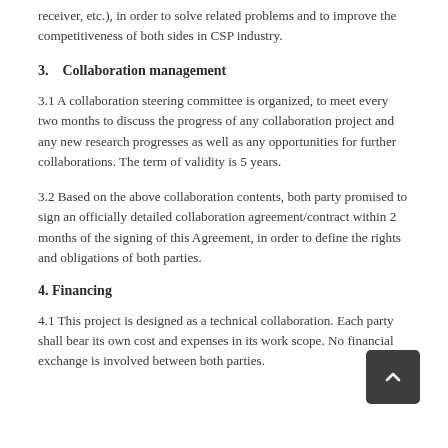receiver, etc.), in order to solve related problems and to improve the competitiveness of both sides in CSP industry.
3.    Collaboration management
3.1 A collaboration steering committee is organized, to meet every two months to discuss the progress of any collaboration project and any new research progresses as well as any opportunities for further collaborations. The term of validity is 5 years.
3.2 Based on the above collaboration contents, both party promised to sign an officially detailed collaboration agreement/contract within 2 months of the signing of this Agreement, in order to define the rights and obligations of both parties.
4. Financing
4.1 This project is designed as a technical collaboration. Each party shall bear its own cost and expenses in its work scope. No financial exchange is involved between both parties.